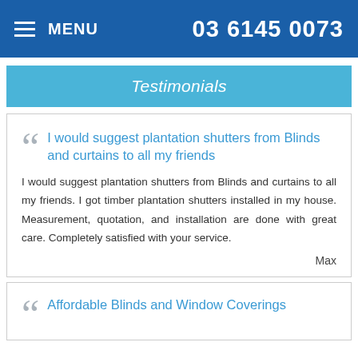MENU   03 6145 0073
Testimonials
I would suggest plantation shutters from Blinds and curtains to all my friends

I would suggest plantation shutters from Blinds and curtains to all my friends. I got timber plantation shutters installed in my house. Measurement, quotation, and installation are done with great care. Completely satisfied with your service.

Max
Affordable Blinds and Window Coverings